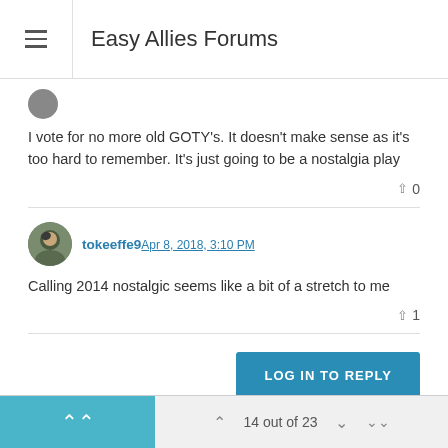Easy Allies Forums
I vote for no more old GOTY's. It doesn't make sense as it's too hard to remember. It's just going to be a nostalgia play
tokeeffe9 Apr 8, 2018, 3:10 PM
Calling 2014 nostalgic seems like a bit of a stretch to me
LOG IN TO REPLY
14 out of 23